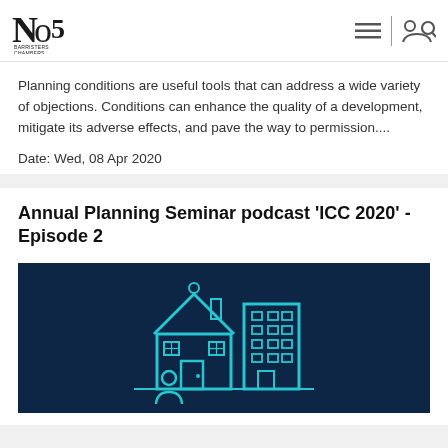No5 Barristers Chambers
Planning conditions are useful tools that can address a wide variety of objections. Conditions can enhance the quality of a development, mitigate its adverse effects, and pave the way to permission....
Date: Wed, 08 Apr 2020
Annual Planning Seminar podcast 'ICC 2020' - Episode 2
[Figure (illustration): Dark navy blue background with a cyan/teal outline illustration of a house and building structure, representing planning/property topics.]